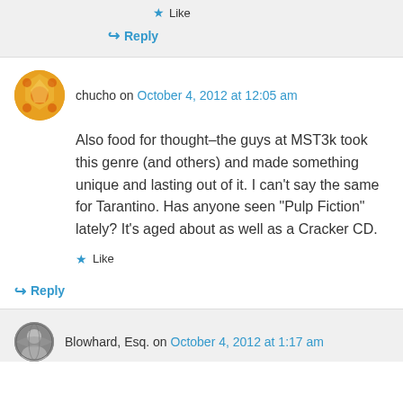★ Like
↪ Reply
chucho on October 4, 2012 at 12:05 am
Also food for thought–the guys at MST3k took this genre (and others) and made something unique and lasting out of it. I can't say the same for Tarantino. Has anyone seen "Pulp Fiction" lately? It's aged about as well as a Cracker CD.
★ Like
↪ Reply
Blowhard, Esq. on October 4, 2012 at 1:17 am